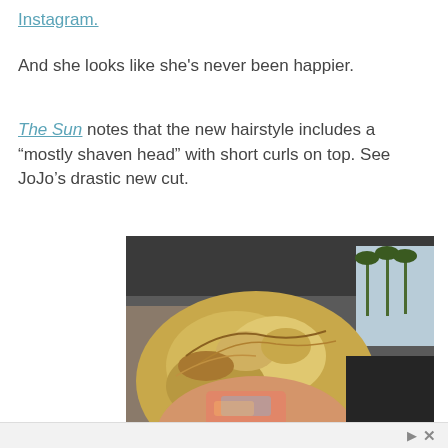Instagram.
And she looks like she's never been happier.
The Sun notes that the new hairstyle includes a "mostly shaven head" with short curls on top. See JoJo's drastic new cut.
[Figure (photo): Close-up photo of a person with short curly blonde hair with shaved sides, taken as a selfie inside a car. Palm trees visible through window in background.]